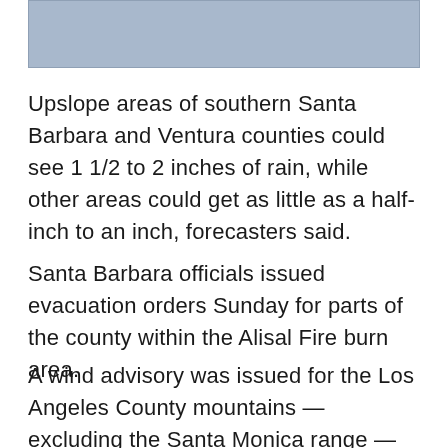[Figure (photo): Image placeholder — blue-grey rectangle at top of page]
Upslope areas of southern Santa Barbara and Ventura counties could see 1 1/2 to 2 inches of rain, while other areas could get as little as a half-inch to an inch, forecasters said.
Santa Barbara officials issued evacuation orders Sunday for parts of the county within the Alisal Fire burn area.
A wind advisory was issued for the Los Angeles County mountains — excluding the Santa Monica range — from 4 a.m. to 2 p.m.